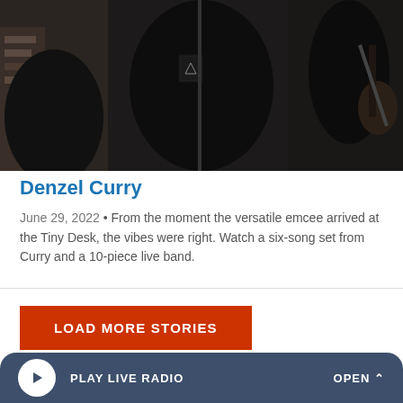[Figure (photo): Photo of Denzel Curry and band members at NPR Tiny Desk concert, wearing black clothing, one holding a guitar]
Denzel Curry
June 29, 2022 • From the moment the versatile emcee arrived at the Tiny Desk, the vibes were right. Watch a six-song set from Curry and a 10-piece live band.
LOAD MORE STORIES
browse archive or search npr.org
PLAY LIVE RADIO   OPEN ^